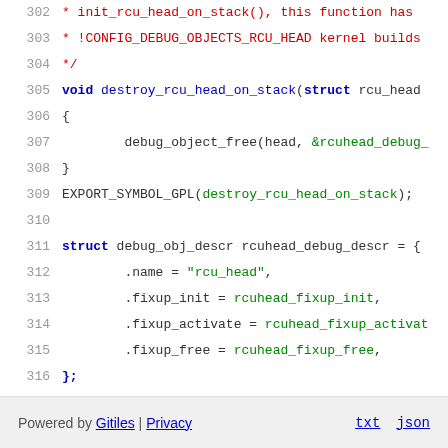[Figure (screenshot): Source code viewer showing lines 302-318 of a Linux kernel C source file with syntax highlighting. Lines include destroy_rcu_head_on_stack function, EXPORT_SYMBOL_GPL calls, and rcuhead_debug_descr struct definition.]
Powered by Gitiles | Privacy    txt  json